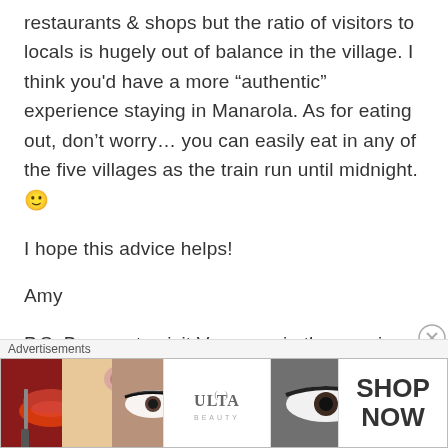restaurants & shops but the ratio of visitors to locals is hugely out of balance in the village. I think you'd have a more “authentic” experience staying in Manarola. As for eating out, don’t worry… you can easily eat in any of the five villages as the train run until midnight. 🙂
I hope this advice helps!
Amy
P.S. Be sure to visit Vernazza in the evening (rather than mid-day) to
Advertisements
[Figure (photo): Advertisement banner showing cosmetic/beauty images including lips with lipstick and makeup brush, eye with makeup, ULTA beauty logo, and eye closeup, with SHOP NOW text]